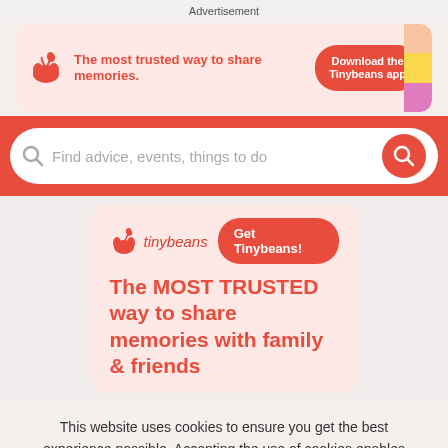Advertisement
[Figure (infographic): Tinybeans app advertisement banner: logo with red plant icon, tagline 'The most trusted way to share memories.' and a red pill button 'Download the Tinybeans app' with decorative colored strips on the right.]
[Figure (screenshot): Red search bar with placeholder text 'Find advice, events, things to do' and a red circular search button icon on the right.]
[Figure (infographic): Tinybeans card with logo, 'Get Tinybeans!' red button, and headline text 'The MOST TRUSTED way to share memories with family & friends']
This website uses cookies to ensure you get the best experience possible. Accepting the use of cookies enables important site functionality including personalization and analytics.
Accept
Decline